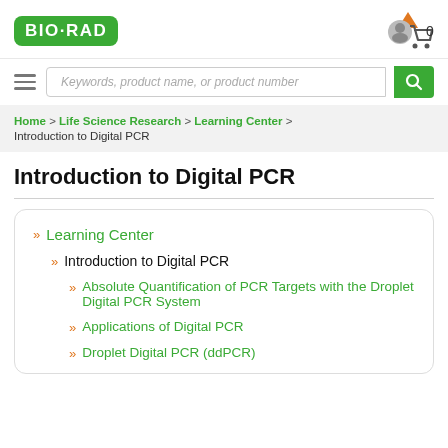[Figure (logo): Bio-Rad logo - green rounded rectangle with white bold text BIO-RAD]
[Figure (screenshot): Shopping cart icon with orange notification dot and number 0]
Keywords, product name, or product number
Home > Life Science Research > Learning Center > Introduction to Digital PCR
Introduction to Digital PCR
» Learning Center
» Introduction to Digital PCR
» Absolute Quantification of PCR Targets with the Droplet Digital PCR System
» Applications of Digital PCR
» Droplet Digital PCR (ddPCR)